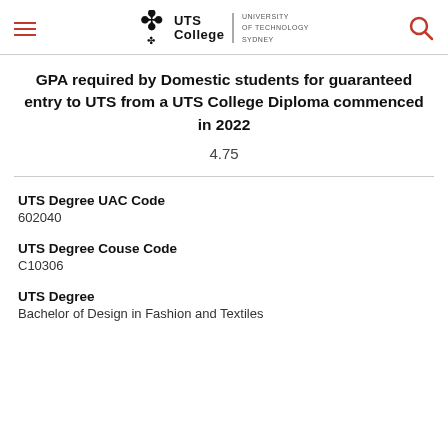UTS College | University of Technology Sydney
GPA required by Domestic students for guaranteed entry to UTS from a UTS College Diploma commenced in 2022
4.75
UTS Degree UAC Code
602040
UTS Degree Couse Code
C10306
UTS Degree
Bachelor of Design in Fashion and Textiles